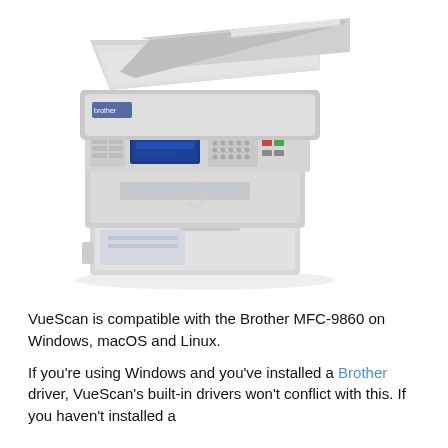[Figure (photo): Photo of a Brother MFC-9860 multifunction laser printer/fax machine, light grey in color, shown at an angle. The machine has an automatic document feeder on top, a flatbed scanner lid, a control panel with blue LCD display and keypad, and a paper tray at the bottom.]
VueScan is compatible with the Brother MFC-9860 on Windows, macOS and Linux.
If you're using Windows and you've installed a Brother driver, VueScan's built-in drivers won't conflict with this. If you haven't installed a